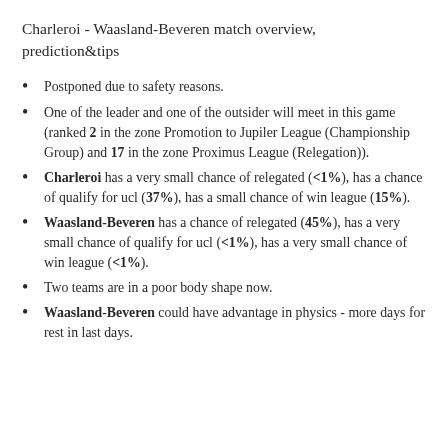Charleroi - Waasland-Beveren match overview, prediction&tips
Postponed due to safety reasons.
One of the leader and one of the outsider will meet in this game (ranked 2 in the zone Promotion to Jupiler League (Championship Group) and 17 in the zone Proximus League (Relegation)).
Charleroi has a very small chance of relegated (<1%), has a chance of qualify for ucl (37%), has a small chance of win league (15%).
Waasland-Beveren has a chance of relegated (45%), has a very small chance of qualify for ucl (<1%), has a very small chance of win league (<1%).
Two teams are in a poor body shape now.
Waasland-Beveren could have advantage in physics - more days for rest in last days.